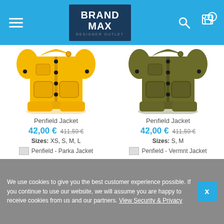BrandMax Designer Outlet
[Figure (photo): Yellow Penfield jacket product photo]
Penfield Jacket
42,00 € 411,59 €
Sizes: XS, S, M, L
[Figure (logo): Penfield - Parka Jacket brand image]
[Figure (photo): Olive/khaki Penfield jacket product photo]
Penfield Jacket
42,00 € 411,59 €
Sizes: S, M
[Figure (logo): Penfield - Vermnt Jacket brand image]
We use cookies to give you the best customer experience possible. If you continue to use our website, we will assume you are happy to receive cookies from us and our partners. View Security & Privacy